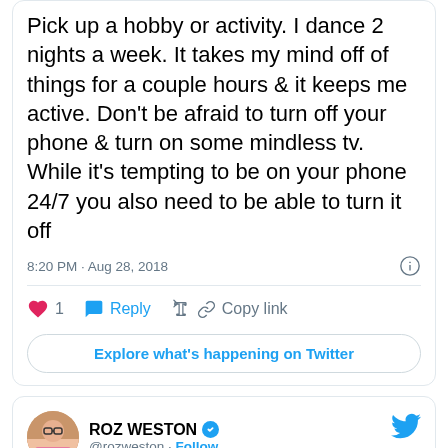Pick up a hobby or activity. I dance 2 nights a week. It takes my mind off of things for a couple hours & it keeps me active. Don't be afraid to turn off your phone & turn on some mindless tv. While it's tempting to be on your phone 24/7 you also need to be able to turn it off
8:20 PM · Aug 28, 2018
1  Reply  Copy link
Explore what's happening on Twitter
ROZ WESTON @rozweston · Follow
Replying to @HG_Watson and @jsource
Learn to cook. Especially the foods that make you feel good. Want a pizza? Make it all (dough and all) from scratch